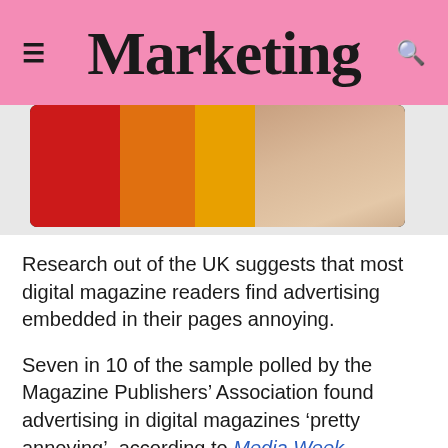Marketing
[Figure (photo): A tablet device showing colored blocks (red, orange, yellow) with a hand near it, on a dark background]
Research out of the UK suggests that most digital magazine readers find advertising embedded in their pages annoying.
Seven in 10 of the sample polled by the Magazine Publishers' Association found advertising in digital magazines 'pretty annoying', according to Media Week.
However, while so many find them annoying, the